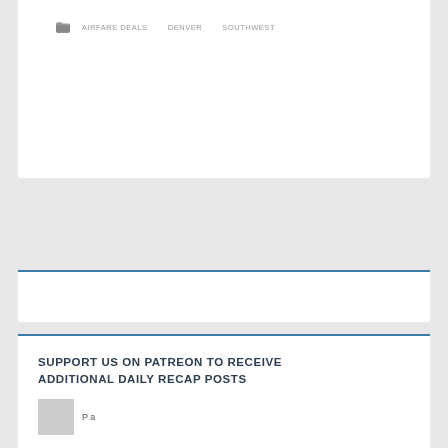AIRFARE DEALS   DENVER   SOUTHWEST
Load Comments
SUPPORT US ON PATREON TO RECEIVE ADDITIONAL DAILY RECAP POSTS
[Figure (other): Patreon logo or avatar placeholder image (gray square)]